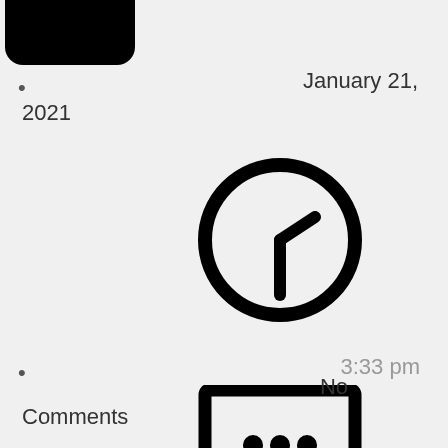[Figure (illustration): Black rounded rectangle icon at top center, partially cropped]
January 21, 2021
[Figure (illustration): Clock icon showing approximately 3:33, thick black outline circle with clock hands]
3:33 pm
[Figure (illustration): Speech bubble / chat icon with three dots inside, thick black outline]
No Comments